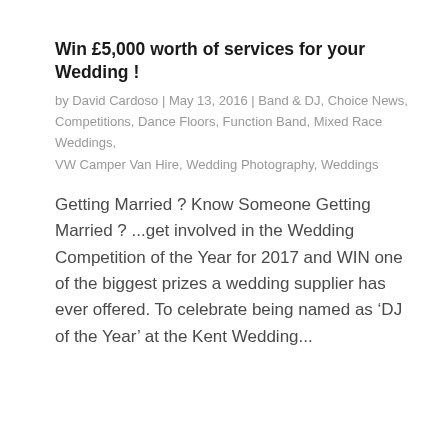Win £5,000 worth of services for your Wedding !
by David Cardoso | May 13, 2016 | Band & DJ, Choice News, Competitions, Dance Floors, Function Band, Mixed Race Weddings, VW Camper Van Hire, Wedding Photography, Weddings
Getting Married ? Know Someone Getting Married ? ...get involved in the Wedding Competition of the Year for 2017 and WIN one of the biggest prizes a wedding supplier has ever offered. To celebrate being named as ‘DJ of the Year’ at the Kent Wedding...